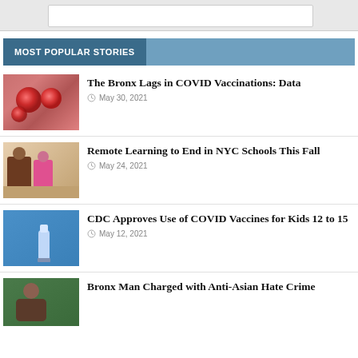MOST POPULAR STORIES
[Figure (photo): Close-up image of red coronavirus particles on a pink background]
The Bronx Lags in COVID Vaccinations: Data
May 30, 2021
[Figure (photo): A teacher helping two young students with schoolwork at a table]
Remote Learning to End in NYC Schools This Fall
May 24, 2021
[Figure (photo): A COVID vaccine vial and syringe on a blue background]
CDC Approves Use of COVID Vaccines for Kids 12 to 15
May 12, 2021
[Figure (photo): Portrait of a person against a green outdoor background]
Bronx Man Charged with Anti-Asian Hate Crime